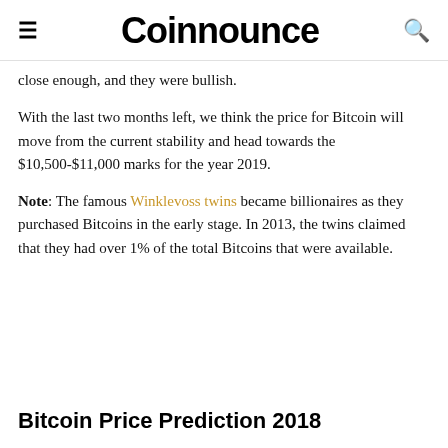Coinnounce
close enough, and they were bullish.
With the last two months left, we think the price for Bitcoin will move from the current stability and head towards the $10,500-$11,000 marks for the year 2019.
Note: The famous Winklevoss twins became billionaires as they purchased Bitcoins in the early stage. In 2013, the twins claimed that they had over 1% of the total Bitcoins that were available.
Bitcoin Price Prediction 2018